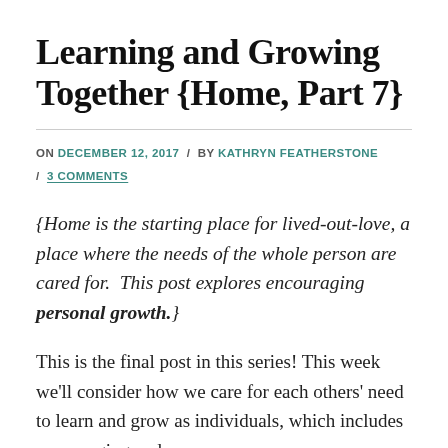Learning and Growing Together {Home, Part 7}
ON DECEMBER 12, 2017 / BY KATHRYN FEATHERSTONE / 3 COMMENTS
{Home is the starting place for lived-out-love, a place where the needs of the whole person are cared for. This post explores encouraging personal growth.}
This is the final post in this series! This week we'll consider how we care for each others' need to learn and grow as individuals, which includes encouraging and